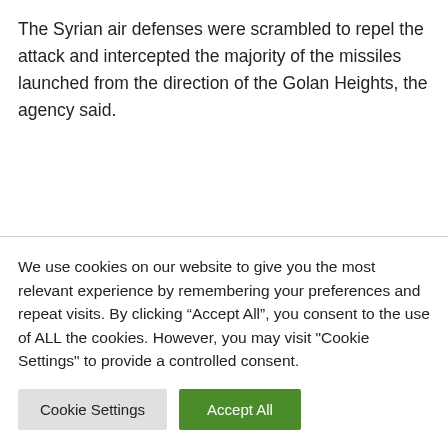The Syrian air defenses were scrambled to repel the attack and intercepted the majority of the missiles launched from the direction of the Golan Heights, the agency said.
We use cookies on our website to give you the most relevant experience by remembering your preferences and repeat visits. By clicking “Accept All”, you consent to the use of ALL the cookies. However, you may visit "Cookie Settings" to provide a controlled consent.